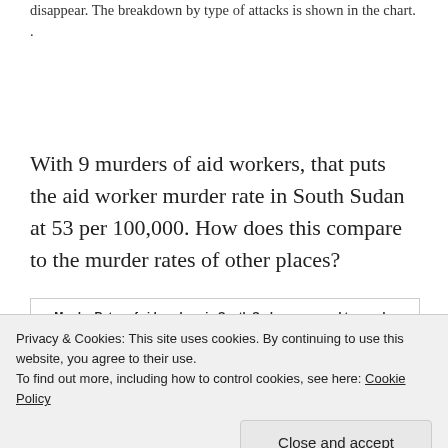disappear. The breakdown by type of attacks is shown in the chart. .
With 9 murders of aid workers, that puts the aid worker murder rate in South Sudan at 53 per 100,000. How does this compare to the murder rates of other places?
Murder Rates of aid workers in South Sudan compared to murder rates of selected cities
Privacy & Cookies: This site uses cookies. By continuing to use this website, you agree to their use.
To find out more, including how to control cookies, see here: Cookie Policy
Close and accept